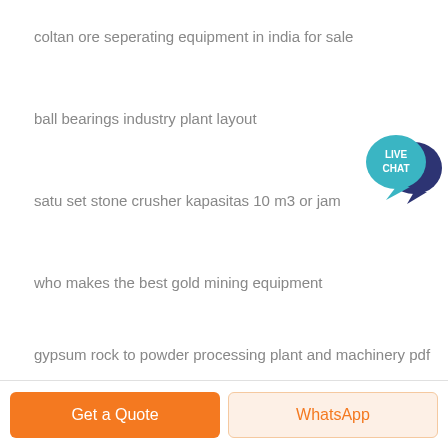coltan ore seperating equipment in india for sale
ball bearings industry plant layout
satu set stone crusher kapasitas 10 m3 or jam
who makes the best gold mining equipment
gypsum rock to powder processing plant and machinery pdf
[Figure (illustration): Live Chat speech bubble icon with teal background and dark blue shadow bubble, text LIVE CHAT in white]
Get a Quote   WhatsApp